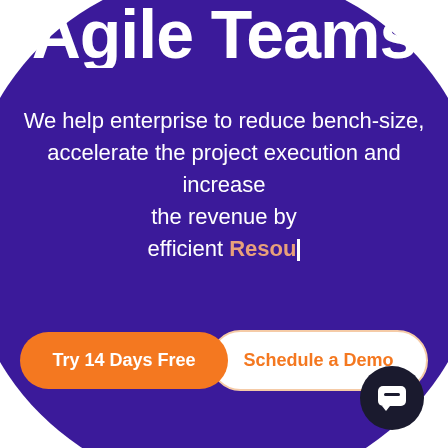Agile Teams
We help enterprise to reduce bench-size, accelerate the project execution and increase the revenue by efficient Resou|
Try 14 Days Free
Schedule a Demo